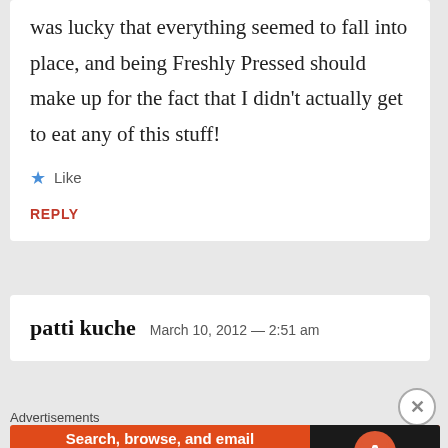was lucky that everything seemed to fall into place, and being Freshly Pressed should make up for the fact that I didn't actually get to eat any of this stuff!
★ Like
REPLY
patti kuche  March 10, 2012 — 2:51 am
Advertisements
[Figure (other): DuckDuckGo advertisement banner: 'Search, browse, and email with more privacy. All in One Free App' with DuckDuckGo duck logo on dark background.]